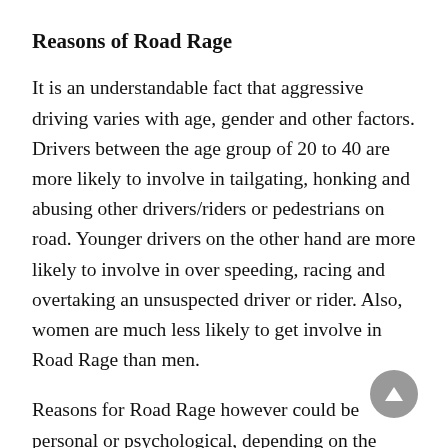Reasons of Road Rage
It is an understandable fact that aggressive driving varies with age, gender and other factors. Drivers between the age group of 20 to 40 are more likely to involve in tailgating, honking and abusing other drivers/riders or pedestrians on road. Younger drivers on the other hand are more likely to involve in over speeding, racing and overtaking an unsuspected driver or rider. Also, women are much less likely to get involve in Road Rage than men.
Reasons for Road Rage however could be personal or psychological, depending on the situation. The aggression that a driver displays on road could have resulted from a bad personal experience, anguish, distress, frustration or sometimes